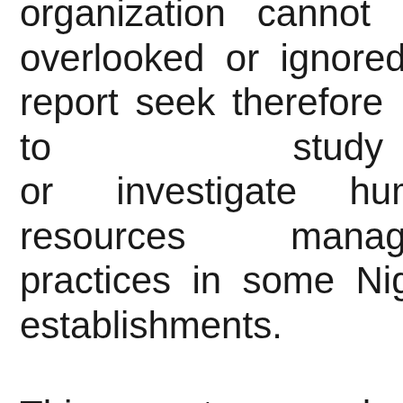organization cannot be overlooked or ignored. This report seek therefore to study or investigate human resources management practices in some Nigeria establishments. This report research seeks to establish the current personnel management